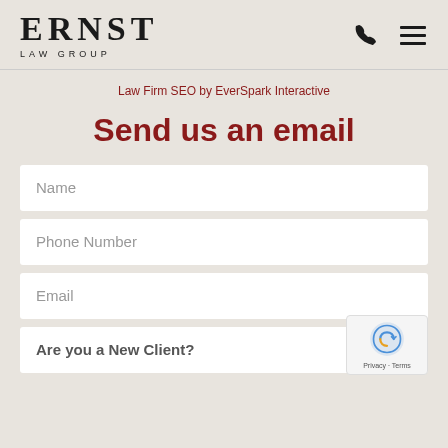[Figure (logo): Ernst Law Group logo with large serif ERNST text and small caps LAW GROUP subtitle]
Law Firm SEO by EverSpark Interactive
Send us an email
Name
Phone Number
Email
Are you a New Client?
[Figure (logo): reCAPTCHA badge with Privacy and Terms links]